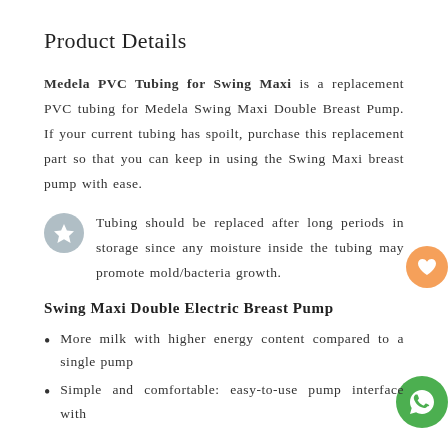Product Details
Medela PVC Tubing for Swing Maxi is a replacement PVC tubing for Medela Swing Maxi Double Breast Pump. If your current tubing has spoilt, purchase this replacement part so that you can keep in using the Swing Maxi breast pump with ease.
Tubing should be replaced after long periods in storage since any moisture inside the tubing may promote mold/bacteria growth.
Swing Maxi Double Electric Breast Pump
More milk with higher energy content compared to a single pump
Simple and comfortable: easy-to-use pump interface with